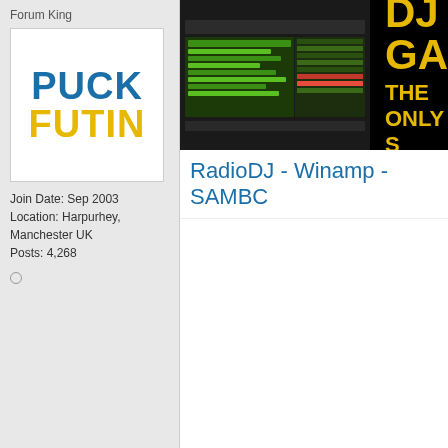Forum King
[Figure (illustration): Avatar image with bold text PUCK FUTIN (blue and yellow)]
Join Date: Sep 2003
Location: Harpurhey, Manchester UK
Posts: 4,268
[Figure (screenshot): DJ GA banner ad - Winamp screenshot on black background with text THE ONLY S]
RadioDJ - Winamp - SAMBC
13th March 2016, 14:15
mattauckland
Junior Member
Join Date: Mar 2015
Posts: 39
I don't use it. I did, but wasn't happy with the la
I've since gone with mAirList which, even thou
Playout (bespoke package), or Myriad.
21st March 2016, 09:01
Unknown Artist
Junior Member
Slight update to my situation, Sam Broadcaste
funny considering who replied to me afterward